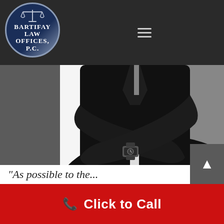Bartifay Law Offices, P.C. — navigation header with logo and hamburger menu
[Figure (photo): Professional photo of a man in a dark business suit with arms crossed, showing a watch on his wrist, cropped at torso/mid-section, white background behind the figure.]
"As possible to the..." (partial quote, text cut off)
Click to Call